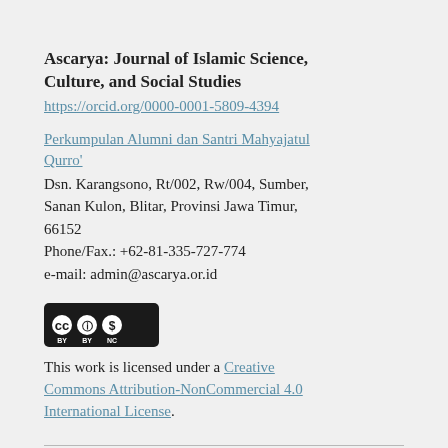Ascarya: Journal of Islamic Science, Culture, and Social Studies
https://orcid.org/0000-0001-5809-4394
Perkumpulan Alumni dan Santri Mahyajatul Qurro'
Dsn. Karangsono, Rt/002, Rw/004, Sumber, Sanan Kulon, Blitar, Provinsi Jawa Timur, 66152
Phone/Fax.: +62-81-335-727-774
e-mail: admin@ascarya.or.id
[Figure (logo): Creative Commons BY-NC license badge showing CC, BY, and NC icons in a black rounded rectangle]
This work is licensed under a Creative Commons Attribution-NonCommercial 4.0 International License.